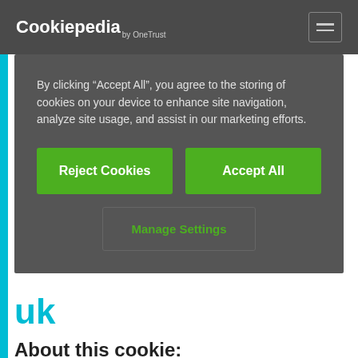Cookiepedia
By clicking “Accept All”, you agree to the storing of cookies on your device to enhance site navigation, analyze site usage, and assist in our marketing efforts.
Reject Cookies
Accept All
Manage Settings
uk
About this cookie:
This cookie is associated with Squarespace. It collects data such as time spent on the website and website interaction.